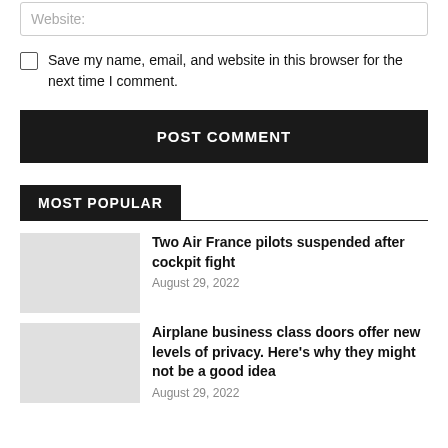Website:
Save my name, email, and website in this browser for the next time I comment.
POST COMMENT
MOST POPULAR
Two Air France pilots suspended after cockpit fight
August 29, 2022
Airplane business class doors offer new levels of privacy. Here's why they might not be a good idea
August 29, 2022